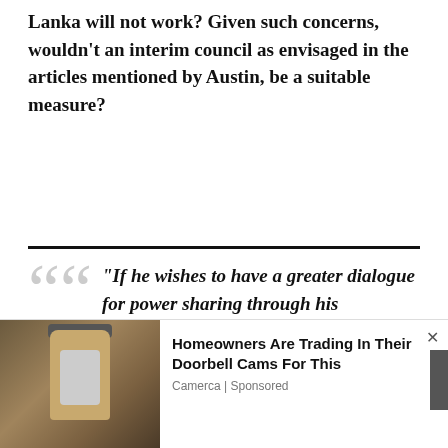Lanka will not work? Given such concerns, wouldn't an interim council as envisaged in the articles mentioned by Austin, be a suitable measure?
“If he wishes to have a greater dialogue for power sharing through his proposition, I have grave doubts of success. We have experienced this sort of elongated dialogue at the APRC and
[Figure (photo): Advertisement banner with a photo of a security camera mounted on a wall and text: Homeowners Are Trading In Their Doorbell Cams For This. Source: Camerca | Sponsored]